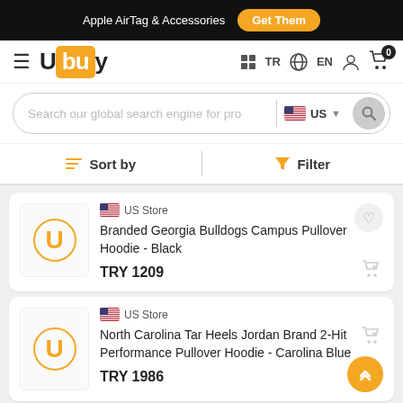Apple AirTag & Accessories  Get Them
[Figure (logo): Ubuy logo with hamburger menu, navigation icons TR, EN, user, cart with badge 0]
[Figure (screenshot): Search bar with placeholder 'Search our global search engine for pro', US flag region selector, search button]
Sort by   Filter
US Store
Branded Georgia Bulldogs Campus Pullover Hoodie - Black
TRY 1209
US Store
North Carolina Tar Heels Jordan Brand 2-Hit Performance Pullover Hoodie - Carolina Blue
TRY 1986